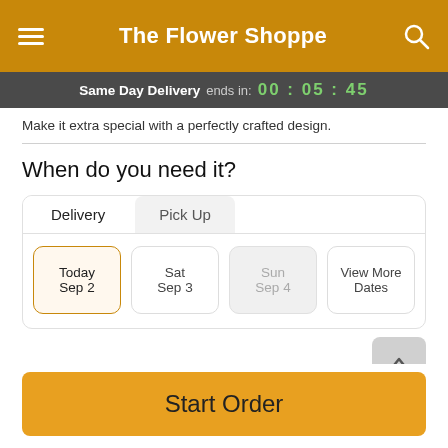The Flower Shoppe
Same Day Delivery ends in: 00:05:45
Make it extra special with a perfectly crafted design.
When do you need it?
Delivery | Pick Up
Today Sep 2 | Sat Sep 3 | Sun Sep 4 | View More Dates
Guaranteed SAFE Checkout
Start Order